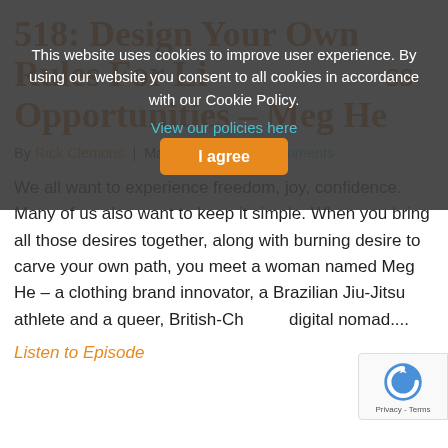518: Design Your Own Rules For Life Business Opportunities – Meg He
By Rick Clemons | May 18, 2022 | 0 Comments
We all want to experience freedom, joy, confidence. Many of us also want to keep it simple. When you bring all those desires together, along with burning desire to carve your own path, you meet a woman named Meg He – a clothing brand innovator, a Brazilian Jiu-Jitsu athlete and a queer, British-Ch... digital nomad....
Listen to Episode
This website uses cookies to improve user experience. By using our website you consent to all cookies in accordance with our Cookie Policy. View our policies here [I agree]